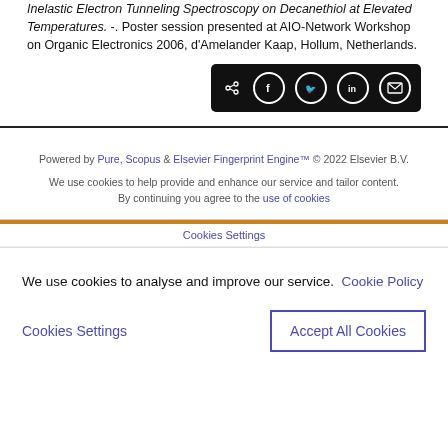Inelastic Electron Tunneling Spectroscopy on Decanethiol at Elevated Temperatures. -. Poster session presented at AIO-Network Workshop on Organic Electronics 2006, d'Amelander Kaap, Hollum, Netherlands.
[Figure (other): Social share buttons bar with icons for share, Facebook, Twitter, LinkedIn, and email on black background]
Powered by Pure, Scopus & Elsevier Fingerprint Engine™ © 2022 Elsevier B.V.
We use cookies to help provide and enhance our service and tailor content. By continuing you agree to the use of cookies
Cookies Settings
We use cookies to analyse and improve our service. Cookie Policy
Cookies Settings
Accept All Cookies